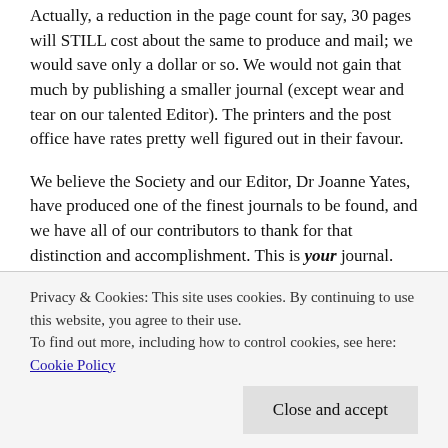Actually, a reduction in the page count for say, 30 pages will STILL cost about the same to produce and mail; we would save only a dollar or so. We would not gain that much by publishing a smaller journal (except wear and tear on our talented Editor). The printers and the post office have rates pretty well figured out in their favour.
We believe the Society and our Editor, Dr Joanne Yates, have produced one of the finest journals to be found, and we have all of our contributors to thank for that distinction and accomplishment. This is your journal. What we want to know, is: "What do you want going forward?" Bigger . . . Smaller . . . About the Same . . . ?
Privacy & Cookies: This site uses cookies. By continuing to use this website, you agree to their use.
To find out more, including how to control cookies, see here: Cookie Policy
Close and accept
important. Thank you.